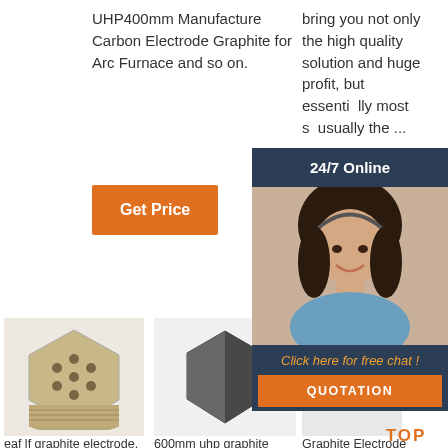UHP400mm Manufacture Carbon Electrode Graphite for Arc Furnace and so on.
[Figure (other): Orange 'Get Price' button]
bring you not only the high quality solution and huge profit, but essentially the most s... usually the ...
[Figure (other): 24/7 Online chat widget with woman in headset photo, 'Click here for free chat!' text, and orange QUOTATION button]
[Figure (photo): Honeycomb ceramic/refractory brick product image]
eaf lf graphite electrode, eaf
[Figure (photo): Dark grey graphite block/electrode product image]
600mm uhp graphite
[Figure (photo): Light grey graphite block product image]
Graphite Electrode -
[Figure (other): Orange TOP back-to-top button with triangle icon]